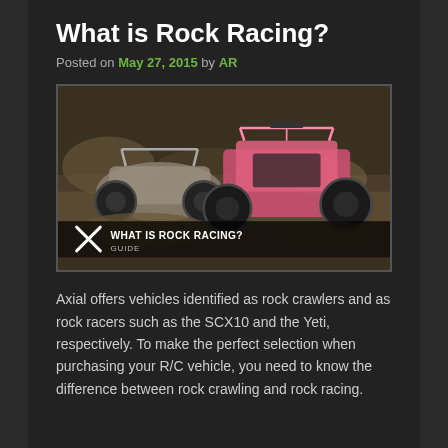What is Rock Racing?
Posted on May 27, 2015 by AR
[Figure (photo): Two RC rock racing vehicles on rocky terrain. Pink/red vehicle in foreground, grey vehicle behind. Overlay text reads 'WHAT IS ROCK RACING? GUIDE' with crossed wrench/screwdriver icon.]
Axial offers vehicles identified as rock crawlers and as rock racers such as the SCX10 and the Yeti, respectively. To make the perfect selection when purchasing your R/C vehicle, you need to know the difference between rock crawling and rock racing.